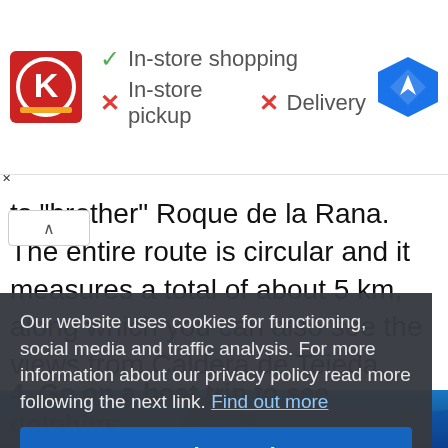[Figure (screenshot): Advertisement banner showing Circle K logo with checkmark for In-store shopping and X marks for In-store pickup and Delivery, plus a Google Maps navigation icon]
ts "brother" Roque de la Rana. The entire route is circular and it measures a total of about 5 km, along which you can also see the views from Caldera de Tejeda, Llanos de la Pez and Pozo de las Nieves.
4. Go on a boat trip to see dolphins
Our website uses cookies for functioning, social media and traffic analysis. For more information about our privacy policy read more following the next link. Find out more
[Figure (photo): Dolphin jumping out of blue ocean water]